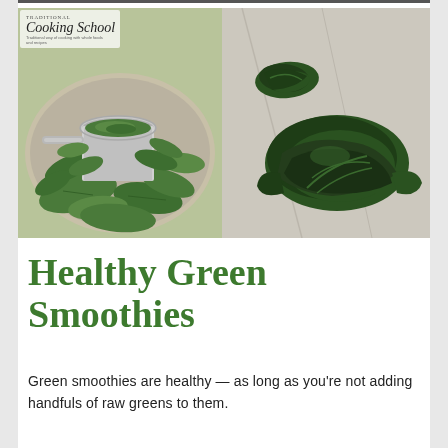[Figure (photo): Two side-by-side food photos: left shows fresh spinach leaves with a metal measuring cup on a wooden surface, with a Traditional Cooking School logo in the upper left; right shows a portion of cooked/wilted dark green spinach leaves on a surface.]
Healthy Green Smoothies
Green smoothies are healthy — as long as you're not adding handfuls of raw greens to them.